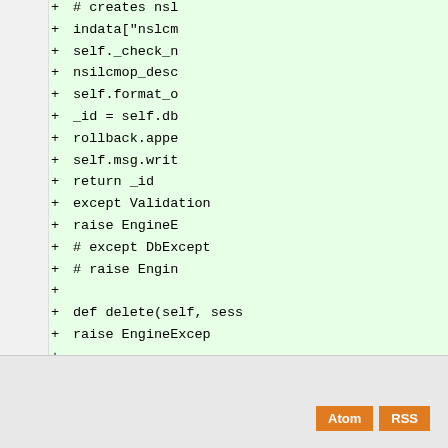[Figure (screenshot): Code diff view showing added lines (marked with +) in a green-highlighted code area. Lines include Python code fragments: indata["nslcm"], self._check_n, nsilcmop_desc, self.format_o, _id = self.db, rollback.appe, self.msg.writ, return _id, except Validation, raise EngineE, # except DbExcept, # raise Engin, blank, def delete(self, sess, raise EngineExcep, blank, def edit(self, sessio, raise EngineExcep]
Atom  RSS